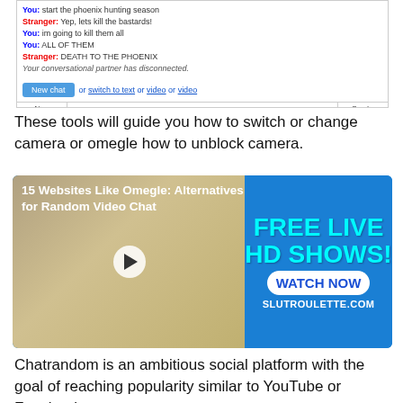[Figure (screenshot): Omegle chat interface screenshot showing a conversation, new chat button, and input bar with text and video links]
These tools will guide you how to switch or change camera or omegle how to unblock camera.
[Figure (screenshot): Video thumbnail showing '15 Websites Like Omegle: Alternatives for Random Video Chat' with an adult advertisement overlay for slutroulette.com showing 'FREE LIVE HD SHOWS! WATCH NOW']
Chatrandom is an ambitious social platform with the goal of reaching popularity similar to YouTube or Facebook.